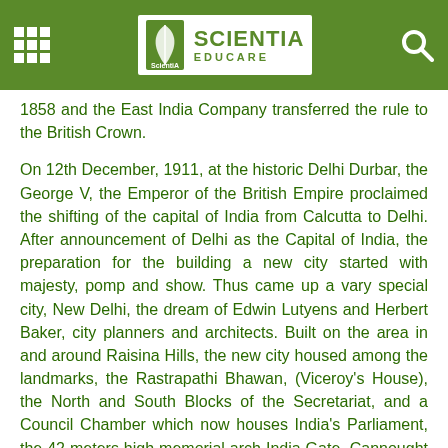SCIENTIA EDUCARE
1858 and the East India Company transferred the rule to the British Crown.
On 12th December, 1911, at the historic Delhi Durbar, the George V, the Emperor of the British Empire proclaimed the shifting of the capital of India from Calcutta to Delhi. After announcement of Delhi as the Capital of India, the preparation for the building a new city started with majesty, pomp and show. Thus came up a vary special city, New Delhi, the dream of Edwin Lutyens and Herbert Baker, city planners and architects. Built on the area in and around Raisina Hills, the new city housed among the landmarks, the Rastrapathi Bhawan, (Viceroy's House), the North and South Blocks of the Secretariat, and a Council Chamber which now houses India's Parliament, the 42 meters high memorial arch India Gate, Cannought Place and numerous roads, parks and other structures.
Rashtrapati Bhawan